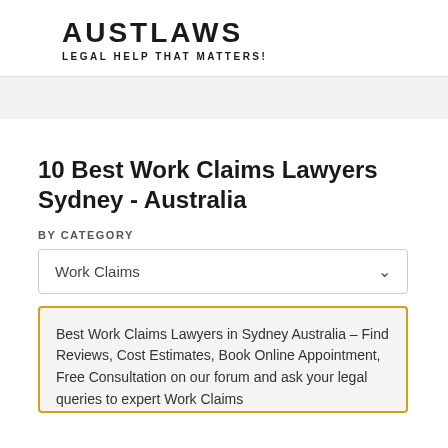AUSTLAWS
LEGAL HELP THAT MATTERS!
10 Best Work Claims Lawyers Sydney - Australia
BY CATEGORY
Work Claims
Best Work Claims Lawyers in Sydney Australia – Find Reviews, Cost Estimates, Book Online Appointment, Free Consultation on our forum and ask your legal queries to expert Work Claims